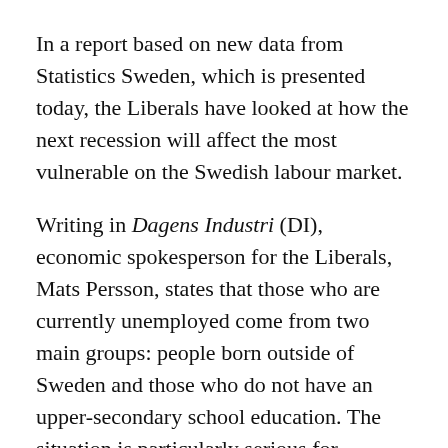In a report based on new data from Statistics Sweden, which is presented today, the Liberals have looked at how the next recession will affect the most vulnerable on the Swedish labour market.
Writing in Dagens Industri (DI), economic spokesperson for the Liberals, Mats Persson, states that those who are currently unemployed come from two main groups: people born outside of Sweden and those who do not have an upper-secondary school education. The situation is particularly serious for foreign-born women; almost 30 per cent of women born outside of Europe of working age have no job.
The new report shows that in the past three recessions in Sweden since 1990, the employment rate among both groups has fallen by nine